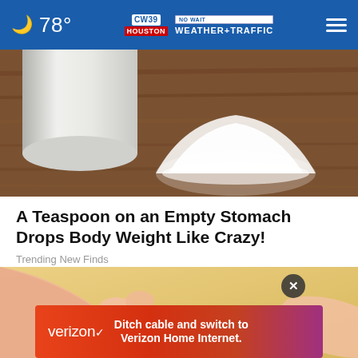78° CW39 NO WAIT WEATHER+TRAFFIC
[Figure (photo): White powder container and a pile of white powder on a wooden surface]
A Teaspoon on an Empty Stomach Drops Body Weight Like Crazy!
Trending New Finds
[Figure (photo): Close-up of a person's bare feet on a yellow surface]
[Figure (other): Verizon advertisement: Ditch cable and switch to Verizon Home Internet.]